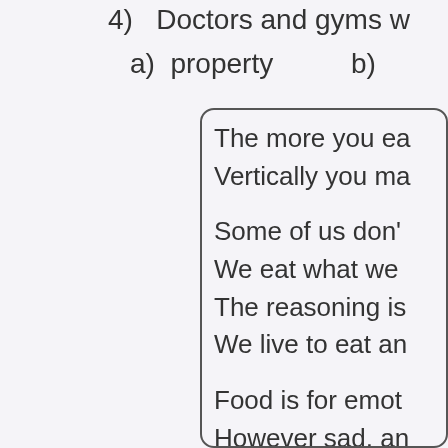4)  Doctors and gyms w
a)  property     b)
The more you ea
Vertically you ma

Some of us don'
We eat what we
The reasoning is
We live to eat an

Food is for emot
However sad, an